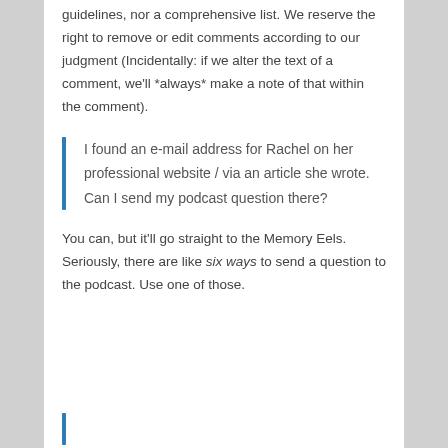guidelines, nor a comprehensive list. We reserve the right to remove or edit comments according to our judgment (Incidentally: if we alter the text of a comment, we'll *always* make a note of that within the comment).
I found an e-mail address for Rachel on her professional website / via an article she wrote. Can I send my podcast question there?
You can, but it'll go straight to the Memory Eels. Seriously, there are like six ways to send a question to the podcast. Use one of those.